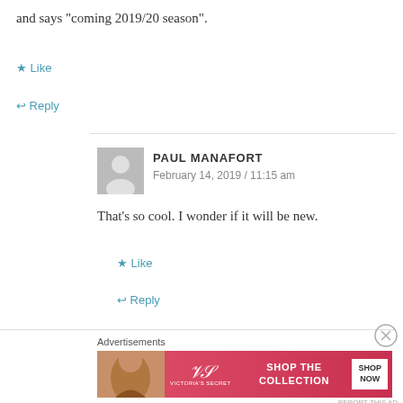and says “coming 2019/20 season”.
★ Like
↩ Reply
PAUL MANAFORT
February 14, 2019 / 11:15 am
That’s so cool. I wonder if it will be new.
★ Like
↩ Reply
Advertisements
[Figure (other): Victoria's Secret advertisement banner with model, VS logo, text SHOP THE COLLECTION, and SHOP NOW button]